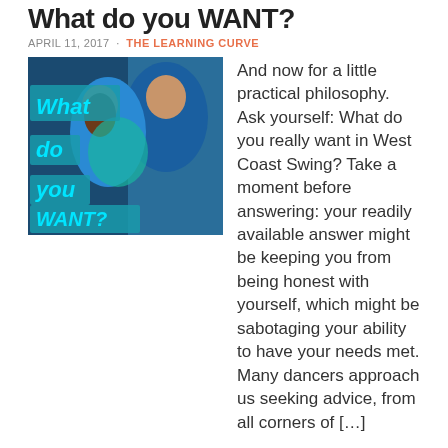What do you WANT?
APRIL 11, 2017 · THE LEARNING CURVE
[Figure (photo): Two dancers performing West Coast Swing with overlaid text reading 'What do you WANT?' on a blue background]
And now for a little practical philosophy. Ask yourself: What do you really want in West Coast Swing? Take a moment before answering: your readily available answer might be keeping you from being honest with yourself, which might be sabotaging your ability to have your needs met. Many dancers approach us seeking advice, from all corners of […]
5 Comments • Continue Reading →